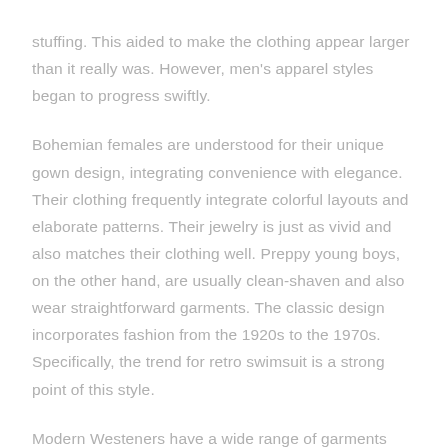stuffing. This aided to make the clothing appear larger than it really was. However, men's apparel styles began to progress swiftly.
Bohemian females are understood for their unique gown design, integrating convenience with elegance. Their clothing frequently integrate colorful layouts and elaborate patterns. Their jewelry is just as vivid and also matches their clothing well. Preppy young boys, on the other hand, are usually clean-shaven and also wear straightforward garments. The classic design incorporates fashion from the 1920s to the 1970s. Specifically, the trend for retro swimsuit is a strong point of this style.
Modern Westeners have a wide range of garments alternatives.